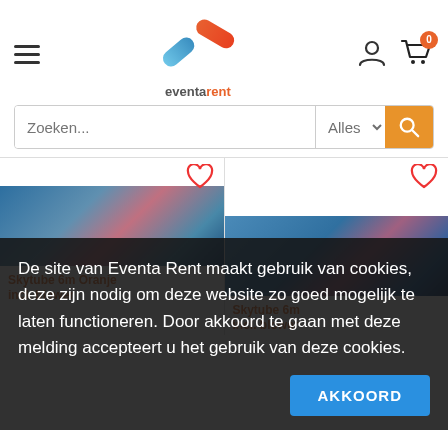[Figure (logo): Eventarent logo: a pill/capsule shape in blue and orange forming a checkmark, with 'eventarent' text below in grey and orange]
[Figure (screenshot): Search bar with placeholder 'Zoeken...', dropdown 'Alles' and orange search button]
[Figure (photo): Product card 1: blurred blue/pink photo of a Skytube, with red heart icon]
[Figure (photo): Product card 2: blurred blue photo of a Skytube, with red heart icon]
De site van Eventa Rent maakt gebruik van cookies, deze zijn nodig om deze website zo goed mogelijk te laten functioneren. Door akkoord te gaan met deze melding accepteert u het gebruik van deze cookies.
Skytube 6m Oranje incl. blower
Skytube 6m incl. blower